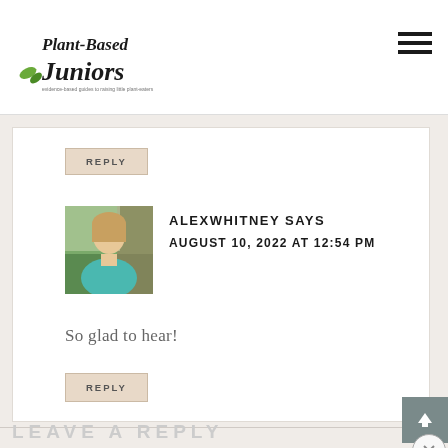Plant-Based Juniors
[Figure (logo): Plant-Based Juniors logo with leaf icon and tagline]
REPLY
[Figure (photo): Avatar photo of AlexWhitney - woman in teal shirt outdoors]
ALEXWHITNEY SAYS
AUGUST 10, 2022 AT 12:54 PM
So glad to hear!
REPLY
LEAVE A REPLY